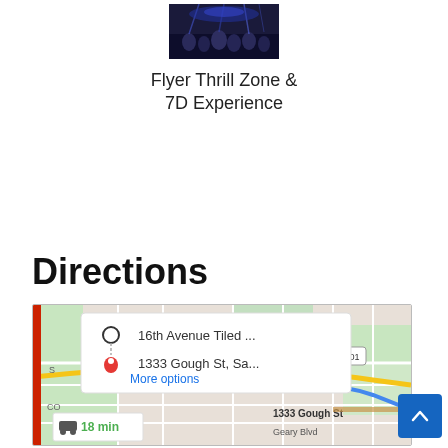[Figure (photo): Small thumbnail image showing people in a dark setting, likely a ride or entertainment attraction]
Flyer Thrill Zone & 7D Experience
Directions
[Figure (map): Google Maps screenshot showing directions from 16th Avenue Tiled ... to 1333 Gough St, Sa... with a route overlay. Shows Marina District, Pacific He, 101 highway. Distance popup shows 18 min drive. More options link visible.]